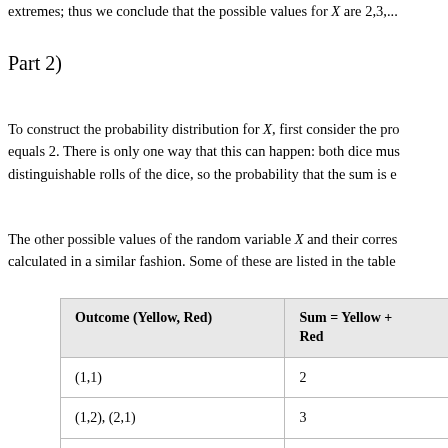extremes; thus we conclude that the possible values for X are 2,3,...
Part 2)
To construct the probability distribution for X, first consider the probability that X equals 2. There is only one way that this can happen: both dice must... distinguishable rolls of the dice, so the probability that the sum is e...
The other possible values of the random variable X and their corresponding probabilities are calculated in a similar fashion. Some of these are listed in the table...
| Outcome (Yellow, Red) | Sum = Yellow + Red |
| --- | --- |
| (1,1) | 2 |
| (1,2), (2,1) | 3 |
| (1,3), (2,2), (3,1) | 4 |
| (1,4), (2,3), (3,2), (4,1) | 5 |